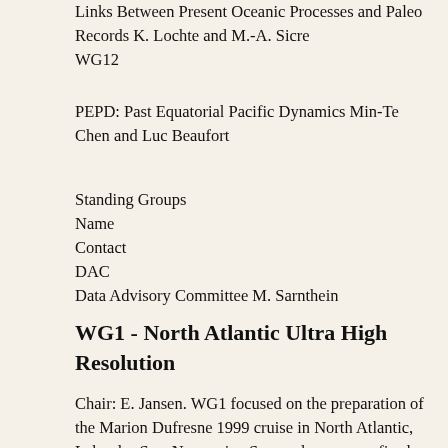Links Between Present Oceanic Processes and Paleo Records K. Lochte and M.-A. Sicre
WG12
PEPD: Past Equatorial Pacific Dynamics Min-Te Chen and Luc Beaufort
Standing Groups
Name
Contact
DAC
Data Advisory Committee M. Sarnthein
WG1 - North Atlantic Ultra High Resolution
Chair: E. Jansen. WG1 focused on the preparation of the Marion Dufresne 1999 cruise in North Atlantic, Labrador Sea, Norwegian Sea, and numerous fjords and estuaries along the track. The main target was to obtain giant cores in high accumulation rate sediments, if possible with annual varves, at about 100